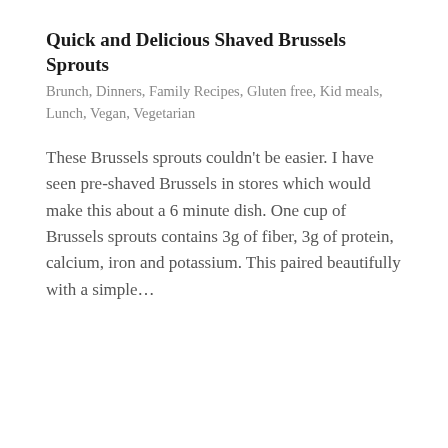Quick and Delicious Shaved Brussels Sprouts
Brunch, Dinners, Family Recipes, Gluten free, Kid meals, Lunch, Vegan, Vegetarian
These Brussels sprouts couldn't be easier. I have seen pre-shaved Brussels in stores which would make this about a 6 minute dish. One cup of Brussels sprouts contains 3g of fiber, 3g of protein, calcium, iron and potassium. This paired beautifully with a simple…